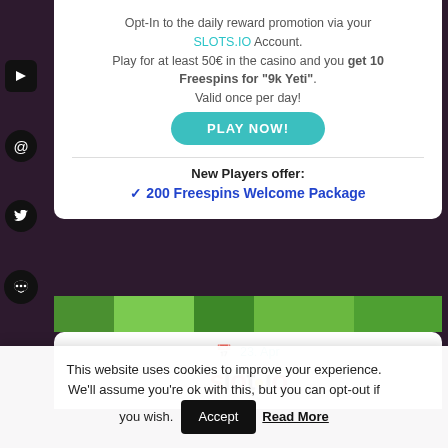Opt-In to the daily reward promotion via your SLOTS.IO Account. Play for at least 50€ in the casino and you get 10 Freespins for "9k Yeti". Valid once per day!
PLAY NOW!
New Players offer: ✓ 200 Freespins Welcome Package
23. Apr
[Figure (logo): slots.io logo with colorful letters]
This website uses cookies to improve your experience. We'll assume you're ok with this, but you can opt-out if you wish. Accept  Read More